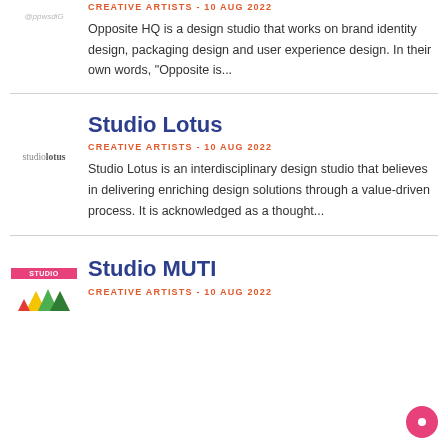[Figure (logo): OppHQ logo text in italic grey]
CREATIVE ARTISTS - 10 AUG 2022
Opposite HQ is a design studio that works on brand identity design, packaging design and user experience design. In their own words, “Opposite is...
[Figure (logo): studiolotus text logo]
Studio Lotus
CREATIVE ARTISTS - 10 AUG 2022
Studio Lotus is an interdisciplinary design studio that believes in delivering enriching design solutions through a value-driven process. It is acknowledged as a thought...
[Figure (logo): Studio MUTI logo with pink banner and coloured triangles]
Studio MUTI
CREATIVE ARTISTS - 10 AUG 2022